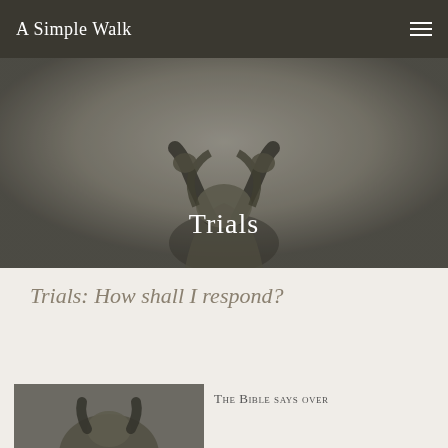A Simple Walk
[Figure (photo): Greyscale illustration of a distressed figure with hands raised to head, used as hero banner image with 'Trials' title overlay]
Trials
Trials: How shall I respond?
[Figure (photo): Greyscale illustration of a person, cropped at bottom of page]
The Bible says over